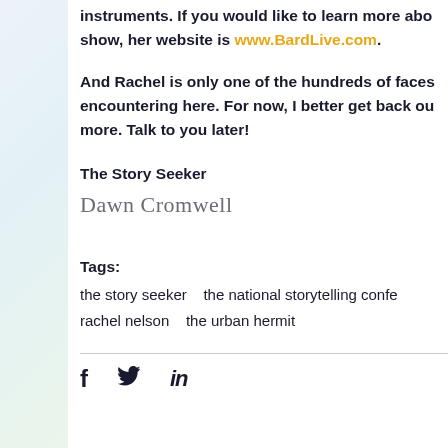instruments. If you would like to learn more about her show, her website is www.BardLive.com.
And Rachel is only one of the hundreds of faces encountering here. For now, I better get back out more. Talk to you later!
The Story Seeker
Dawn Cromwell
Tags:
the story seeker   the national storytelling conference
rachel nelson   the urban hermit
[Figure (other): Social media share icons: Facebook (f), Twitter (bird), LinkedIn (in)]